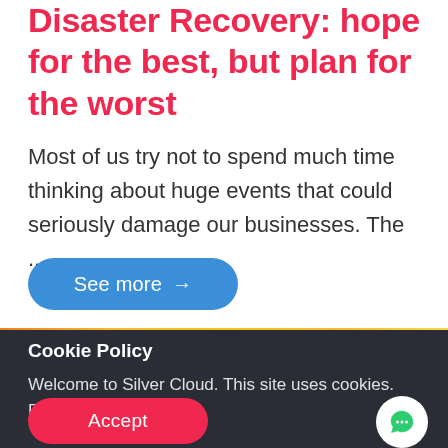Disaster Recovery: hope for the best, but plan for the worst
Most of us try not to spend much time thinking about huge events that could seriously damage our businesses. The ...
[Figure (other): Blue rounded pill button with text 'See more' and right arrow]
[Figure (other): Orange-to-yellow gradient banner with dot texture on left side and a white rounded rectangle outline in center]
Cookie Policy
Welcome to Silver Cloud. This site uses cookies. Read our policy.
[Figure (other): Pink/red rounded pill button with text 'Accept']
[Figure (other): White circular chat bubble icon button]